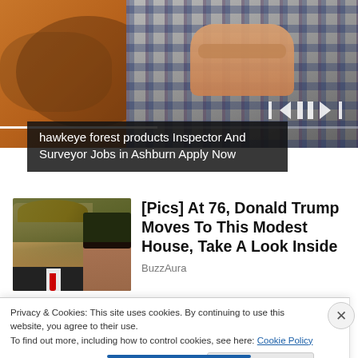[Figure (screenshot): Top banner area showing a person with arms crossed wearing a plaid shirt, with media player controls (previous, pause, next) and a progress bar overlay]
hawkeye forest products Inspector And Surveyor Jobs in Ashburn Apply Now
[Figure (photo): Thumbnail photo of Donald Trump and Melania Trump]
[Pics] At 76, Donald Trump Moves To This Modest House, Take A Look Inside
BuzzAura
Privacy & Cookies: This site uses cookies. By continuing to use this website, you agree to their use.
To find out more, including how to control cookies, see here: Cookie Policy
Close and accept